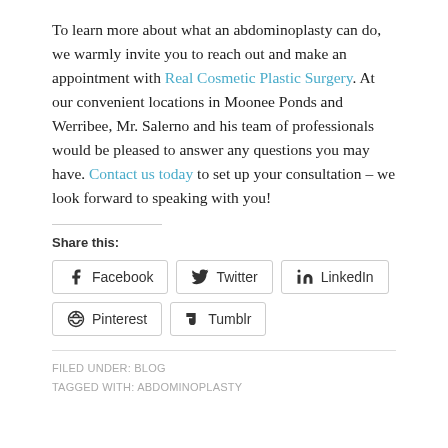To learn more about what an abdominoplasty can do, we warmly invite you to reach out and make an appointment with Real Cosmetic Plastic Surgery. At our convenient locations in Moonee Ponds and Werribee, Mr. Salerno and his team of professionals would be pleased to answer any questions you may have. Contact us today to set up your consultation – we look forward to speaking with you!
Share this:
Facebook
Twitter
LinkedIn
Pinterest
Tumblr
FILED UNDER: BLOG
TAGGED WITH: ABDOMINOPLASTY